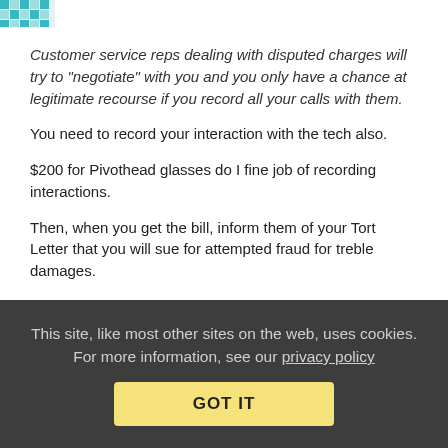[Figure (logo): Teal/green mosaic pattern logo icon in top left corner]
Customer service reps dealing with disputed charges will try to “negotiate” with you and you only have a chance at legitimate recourse if you record all your calls with them.
You need to record your interaction with the tech also.
$200 for Pivothead glasses do I fine job of recording interactions.
Then, when you get the bill, inform them of your Tort Letter that you will sue for attempted fraud for treble damages.
Let a judge settle the matter.
Collapse replies (7) | Reply | View in chronology
This site, like most other sites on the web, uses cookies. For more information, see our privacy policy
GOT IT